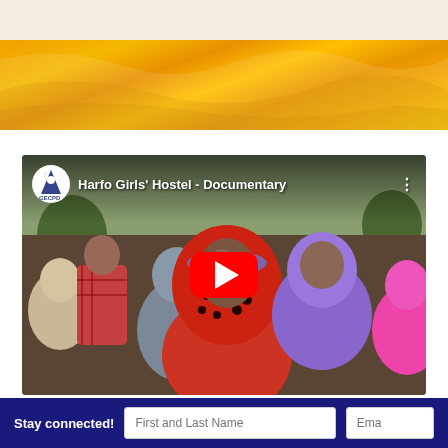[Figure (photo): Orange/yellow fabric texture hero banner image at the top of page]
[Figure (screenshot): YouTube video embed thumbnail showing 'Harfo Girls Hostel - Documentary' with GECPD channel logo, group of girls wearing colorful hijabs, and a red YouTube play button in the center]
Stay connected!
First and Last Name
Ema